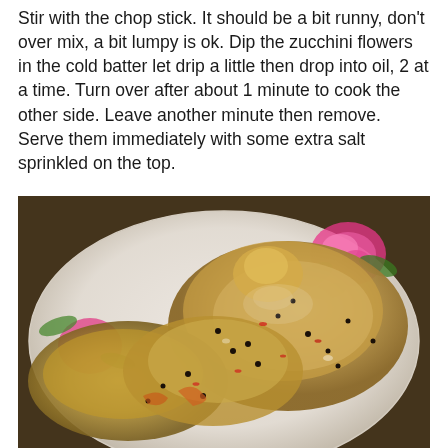Stir with the chop stick. It should be a bit runny, don't over mix, a bit lumpy is ok. Dip the zucchini flowers in the cold batter let drip a little then drop into oil, 2 at a time. Turn over after about 1 minute to cook the other side. Leave another minute then remove.
Serve them immediately with some extra salt sprinkled on the top.
[Figure (photo): Fried battered zucchini flowers on a floral-patterned white plate, golden-brown tempura batter with visible black sesame seeds and red chili flakes, photographed close-up.]